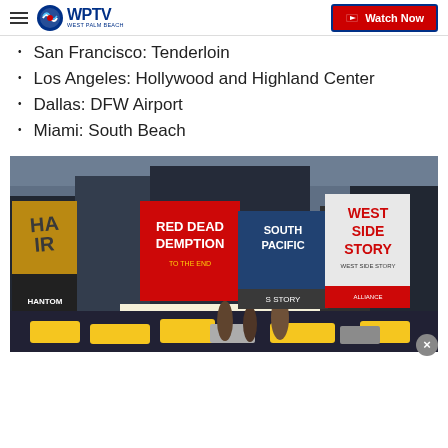WPTV West Palm Beach - Watch Now
San Francisco: Tenderloin
Los Angeles: Hollywood and Highland Center
Dallas: DFW Airport
Miami: South Beach
[Figure (photo): Times Square New York City street scene with Broadway show billboards including South Pacific, West Side Story, Red Dead Redemption, Hair, Phantom of the Opera, and Guest Suites signs, with yellow taxis and crowds below.]